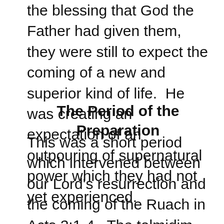the blessing that God the Father had given them, they were still to expect the coming of a new and superior kind of life.  He was creating an expectation of an outpouring of supernatural power which they had not yet experienced.
The Period of the Preparation
This was a short period which intervened between our Lord's resurrection and the coming of the Ruach in Acts 2:1-4.  The talmidim had stopped their activity at the specific command of the Lord.  He had said, "Wait for what the Father promised, which you heard about from me." (Acts 1:4)